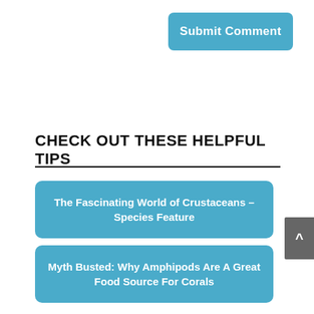Submit Comment
CHECK OUT THESE HELPFUL TIPS
The Fascinating World of Crustaceans – Species Feature
Myth Busted: Why Amphipods Are A Great Food Source For Corals
How To Start An Aquarium: Complete Guide